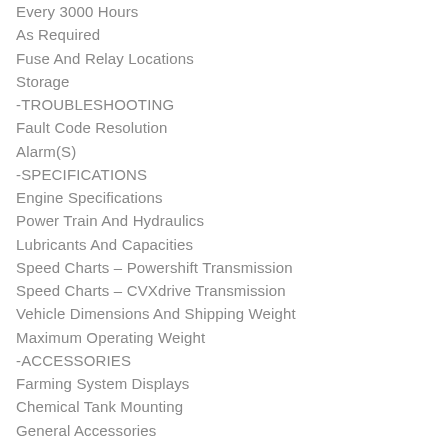Every 3000 Hours
As Required
Fuse And Relay Locations
Storage
-TROUBLESHOOTING
Fault Code Resolution
Alarm(S)
-SPECIFICATIONS
Engine Specifications
Power Train And Hydraulics
Lubricants And Capacities
Speed Charts – Powershift Transmission
Speed Charts – CVXdrive Transmission
Vehicle Dimensions And Shipping Weight
Maximum Operating Weight
-ACCESSORIES
Farming System Displays
Chemical Tank Mounting
General Accessories